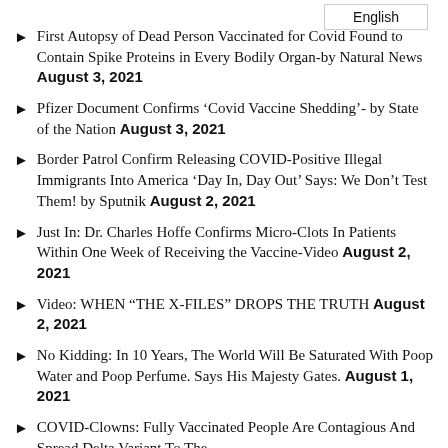English
First Autopsy of Dead Person Vaccinated for Covid Found to Contain Spike Proteins in Every Bodily Organ-by Natural News August 3, 2021
Pfizer Document Confirms 'Covid Vaccine Shedding'- by State of the Nation August 3, 2021
Border Patrol Confirm Releasing COVID-Positive Illegal Immigrants Into America 'Day In, Day Out' Says: We Don't Test Them! by Sputnik August 2, 2021
Just In: Dr. Charles Hoffe Confirms Micro-Clots In Patients Within One Week of Receiving the Vaccine-Video August 2, 2021
Video: WHEN "THE X-FILES" DROPS THE TRUTH August 2, 2021
No Kidding: In 10 Years, The World Will Be Saturated With Poop Water and Poop Perfume. Says His Majesty Gates. August 1, 2021
COVID-Clowns: Fully Vaccinated People Are Contagious And Spread Delta Variant To The